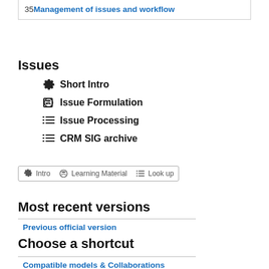359 Management of issues and workflow
Issues
Short Intro
Issue Formulation
Issue Processing
CRM SIG archive
Intro   Learning Material   Look up
Most recent versions
Previous official version
Choose a shortcut
Compatible models & Collaborations